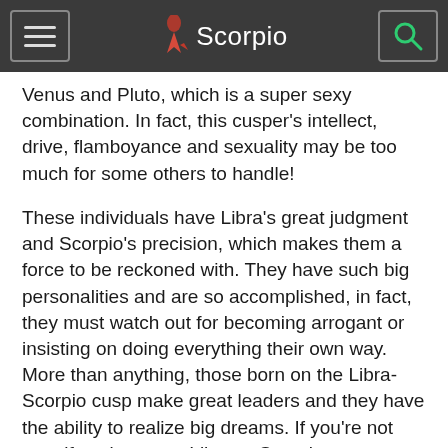Scorpio
Venus and Pluto, which is a super sexy combination. In fact, this cusper's intellect, drive, flamboyance and sexuality may be too much for some others to handle!
These individuals have Libra's great judgment and Scorpio's precision, which makes them a force to be reckoned with. They have such big personalities and are so accomplished, in fact, they must watch out for becoming arrogant or insisting on doing everything their own way. More than anything, those born on the Libra-Scorpio cusp make great leaders and they have the ability to realize big dreams. If you're not sure if you're a true Libra or Scorpio, get your Essential Birth Chart report to find out!